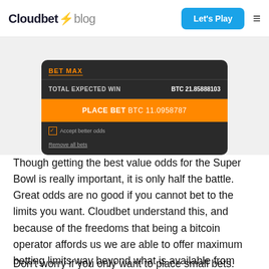Cloudbet blog — Let's Play
[Figure (screenshot): Cloudbet betting interface showing BET MAX button, TOTAL EXPECTED WIN BTC 21.85888103, PLACE BET BTC 11.0958787 orange button, Accept better odds checkbox, and Remove all bets link, on dark background.]
Though getting the best value odds for the Super Bowl is really important, it is only half the battle. Great odds are no good if you cannot bet to the limits you want. Cloudbet understand this, and because of the freedoms that being a bitcoin operator affords us we are able to offer maximum betting limits way beyond what is available from traditional fiat bookmakers. The current Super Bowl max bet is 11 BTC but that will rise much higher as we get closer to the game.
Don't worry if you only want to place small bets. Cloudbet also